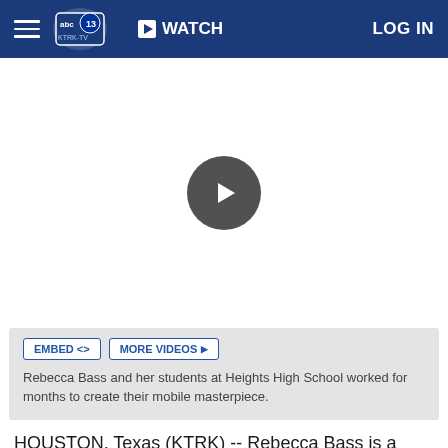abc13 | WATCH | LOG IN
[Figure (screenshot): Video player area with dark circular play button in the center on white background]
Rebecca Bass and her students at Heights High School worked for months to create their mobile masterpiece.
HOUSTON, Texas (KTRK) -- Rebecca Bass is a legend in the Houston Art Car Parade.
The longtime teacher is the creator of HISD's award-